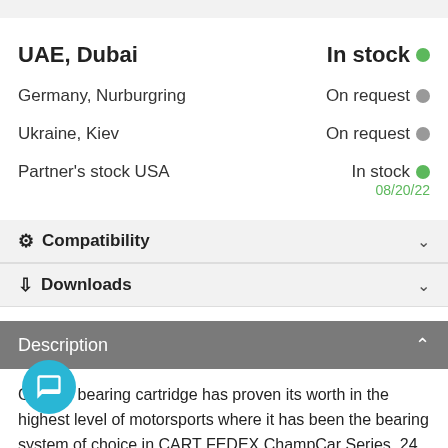UAE, Dubai — In stock
Germany, Nurburgring — On request
Ukraine, Kiev — On request
Partner's stock USA — In stock 08/20/22
Compatibility
Downloads
Description
Ga... all bearing cartridge has proven its worth in the highest level of motorsports where it has been the bearing system of choice in CART FEDEX ChampCar Series, 24 Hours of Le Mans,